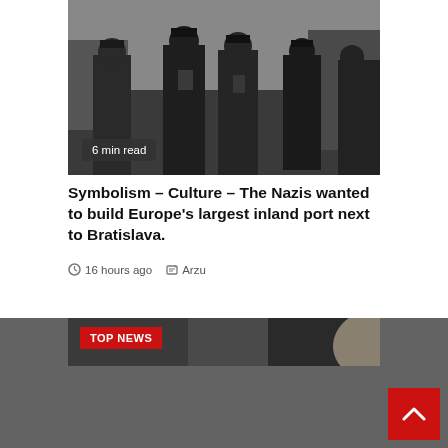[Figure (photo): Black and white historical photograph of Nazi military officials in uniform, standing outdoors. Several figures in military dress visible, with crowds in the background.]
6 min read
Symbolism – Culture – The Nazis wanted to build Europe's largest inland port next to Bratislava.
16 hours ago  Arzu
[Figure (photo): Partial photograph showing a person's head/face, partially visible, with a red TOP NEWS badge overlay and a gray/dark lower section. A red back-to-top arrow button is visible in the lower right.]
TOP NEWS